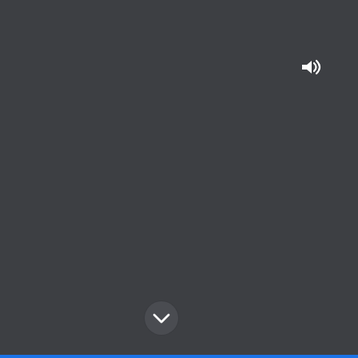[Figure (screenshot): Dark gray UI screen with a speaker/volume icon in the top-right corner, a circular chevron-down button near the bottom center, and a blue bar at the very bottom edge.]